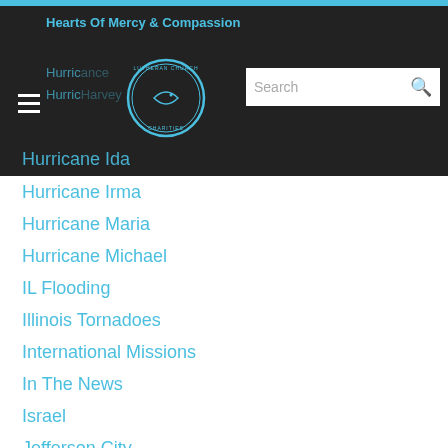Hearts Of Mercy & Compassion
Hurricane Ida
Hurricane Irma
Hurricane Maria
Hurricane Michael
IL Flooding
Illinois Tornadoes
International Missions
In The News
Israel
Jefferson City
Job Openings
K-9 Comfort Dogs
K-9 Court System - Ezra
K-9 Police Ministry
K-9 Travel Expenses
Kansas